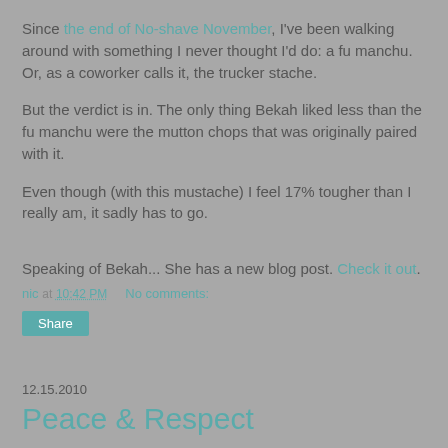Since the end of No-shave November, I've been walking around with something I never thought I'd do: a fu manchu. Or, as a coworker calls it, the trucker stache.
But the verdict is in. The only thing Bekah liked less than the fu manchu were the mutton chops that was originally paired with it.
Even though (with this mustache) I feel 17% tougher than I really am, it sadly has to go.
Speaking of Bekah... She has a new blog post. Check it out.
nic at 10:42 PM    No comments:
Share
12.15.2010
Peace & Respect